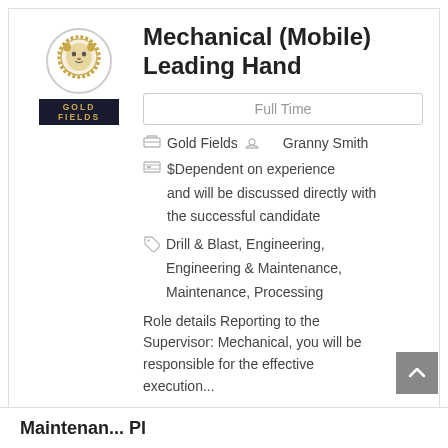[Figure (logo): Gold Fields lion logo with circular border and GOLD FIELDS text bar below]
Mechanical (Mobile) Leading Hand
Full Time
Gold Fields   Granny Smith
$Dependent on experience and will be discussed directly with the successful candidate
Drill & Blast, Engineering, Engineering & Maintenance, Maintenance, Processing
Role details Reporting to the Supervisor: Mechanical, you will be responsible for the effective execution...